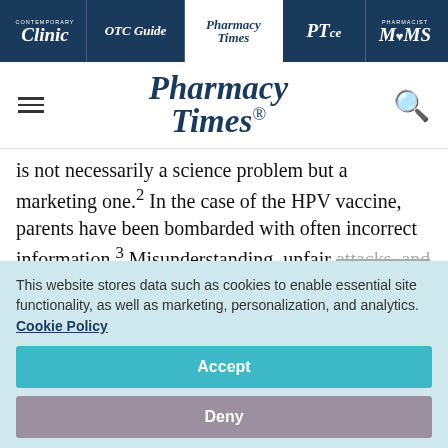Contemporary Clinic | OTC Guide | Pharmacy Times | PTce | Pharmacist MOMS
[Figure (logo): Pharmacy Times logo with hamburger menu and search icon]
is not necessarily a science problem but a marketing one.² In the case of the HPV vaccine, parents have been bombarded with often incorrect information.³ Misunderstanding, unfair attacks, and unsubstantiated information spread
This website stores data such as cookies to enable essential site functionality, as well as marketing, personalization, and analytics. Cookie Policy
Accept
Deny